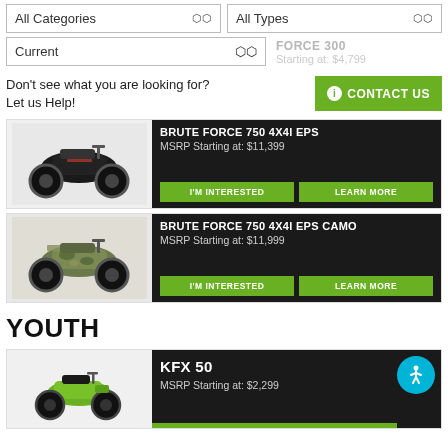[Figure (screenshot): Filter dropdowns: All Categories, All Types, Current]
Don't see what you are looking for? Let us Help!
CONTACT US
BRUTE FORCE 750 4X4I EPS
MSRP Starting at: $11,399
I'M INTERESTED
LEARN MORE
BRUTE FORCE 750 4X4I EPS CAMO
MSRP Starting at: $11,999
I'M INTERESTED
LEARN MORE
YOUTH
KFX 50
MSRP Starting at: $2,299